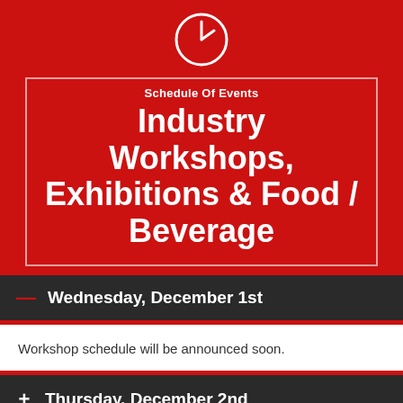[Figure (illustration): White circular icon with a clock/compass needle symbol on red background]
Schedule Of Events
Industry Workshops, Exhibitions & Food / Beverage
Wednesday, December 1st
Workshop schedule will be announced soon.
Thursday, December 2nd
Friday, December 3rd